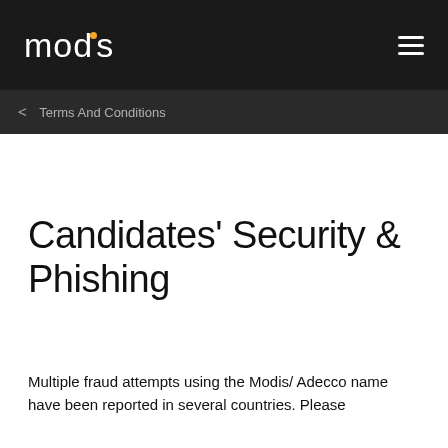modis
Terms And Conditions
Candidates' Security & Phishing
Multiple fraud attempts using the Modis/ Adecco name have been reported in several countries. Please